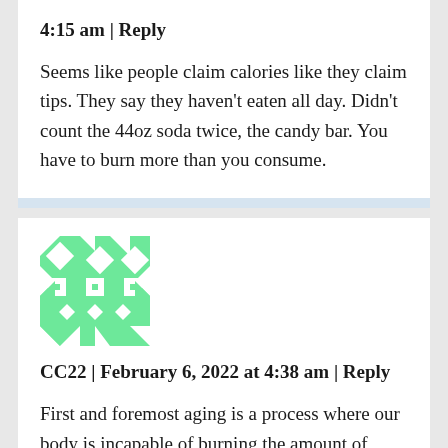4:15 am | Reply
Seems like people claim calories like they claim tips. They say they haven't eaten all day. Didn't count the 44oz soda twice, the candy bar. You have to burn more than you consume.
[Figure (illustration): Green and white geometric pattern avatar icon for user CC22]
CC22 | February 6, 2022 at 4:38 am | Reply
First and foremost aging is a process where our body is incapable of burning the amount of energy we use as we were younger. We have different metabolism